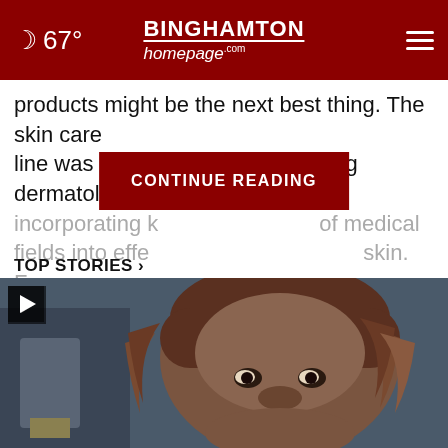67° | BINGHAMTON homepage .com
products might be the next best thing. The skin care line was developed by a pioneering dermatologist, incorporating k[CONTINUE READING]of medical fields into effe[...]skin. For
TOP STORIES ›
[Figure (photo): A video thumbnail showing a woman with braided hair looking at the camera, with a play button overlay in the top left corner.]